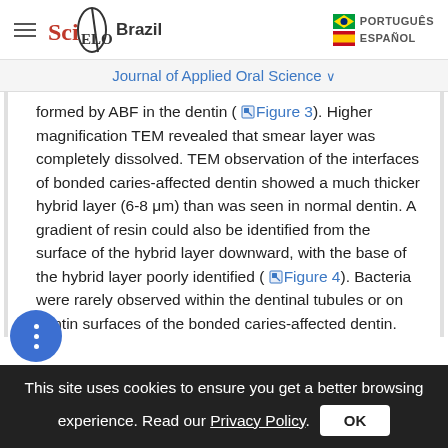SciELO Brazil — PORTUGUÊS | ESPAÑOL
Journal of Applied Oral Science ∨
formed by ABF in the dentin (Figure 3). Higher magnification TEM revealed that smear layer was completely dissolved. TEM observation of the interfaces of bonded caries-affected dentin showed a much thicker hybrid layer (6-8 μm) than was seen in normal dentin. A gradient of resin could also be identified from the surface of the hybrid layer downward, with the base of the hybrid layer poorly identified (Figure 4). Bacteria were rarely observed within the dentinal tubules or on dentin surfaces of the bonded caries-affected dentin. TEM observation of the resin-bonded interfaces of deep
This site uses cookies to ensure you get a better browsing experience. Read our Privacy Policy.